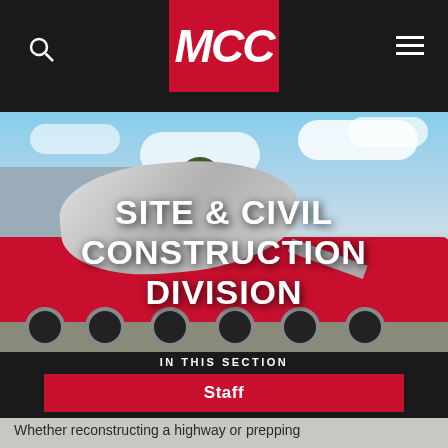MCC
[Figure (photo): Red cement mixer truck (MCC branded, number 1282) parked on a concrete surface with blue sky and clouds in the background. A building is partially visible behind the truck.]
SITE & CIVIL CONSTRUCTION DIVISION
IN THIS SECTION
Staff
Photos
Whether reconstructing a highway or prepping